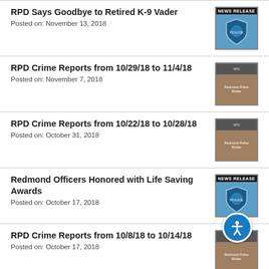RPD Says Goodbye to Retired K-9 Vader
Posted on: November 13, 2018
RPD Crime Reports from 10/29/18 to 11/4/18
Posted on: November 7, 2018
RPD Crime Reports from 10/22/18 to 10/28/18
Posted on: October 31, 2018
Redmond Officers Honored with Life Saving Awards
Posted on: October 17, 2018
RPD Crime Reports from 10/8/18 to 10/14/18
Posted on: October 17, 2018
RPD Crime Reports from 10/1/18 to 10/7/18